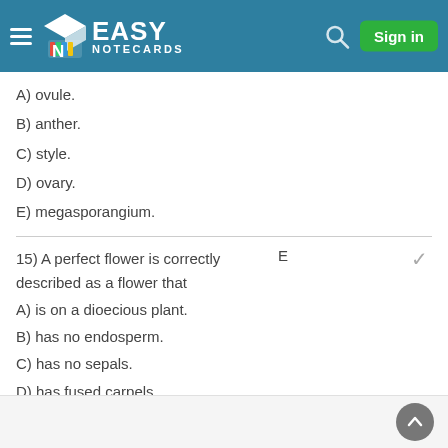Easy Notecards — Sign in
A) ovule.
B) anther.
C) style.
D) ovary.
E) megasporangium.
15) A perfect flower is correctly described as a flower that
A) is on a dioecious plant.
B) has no endosperm.
C) has no sepals.
D) has fused carpels.
E) has both stamens and carpels.